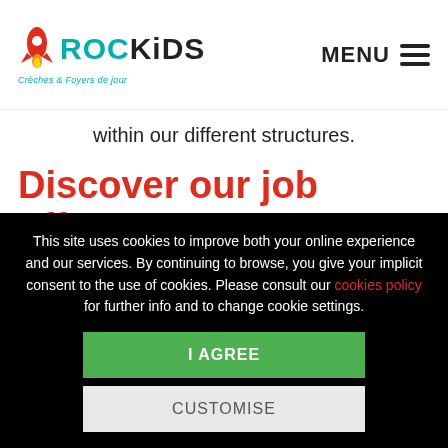[Figure (logo): Rockids logo with rocket icon, teal/cyan brand name 'ROCKIDS' and tagline 'Crèches & Foyers de jour']
MENU
within our different structures.
Discover our job offers
For more than 15 years, Rockids has been caring for
This site uses cookies to improve both your online experience and our services. By continuing to browse, you give your implicit consent to the use of cookies. Please consult our cookies policy for further info and to change cookie settings.
I AGREE
CUSTOMISE